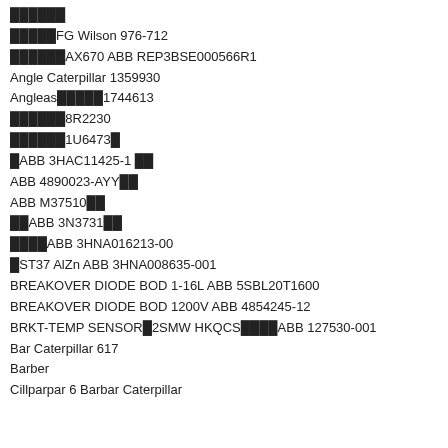██████
█████FG Wilson 976-712
██████AX670 ABB REP3BSE000566R1
Angle Caterpillar 1359930
Angleas█████1744613
██████8R2230
██████1U6473█
█ABB 3HAC11425-1 ██
ABB 4890023-AYY██
ABB M37510██
██ABB 3N3731██
████ABB 3HNA016213-00
█ST37 AlZn ABB 3HNA008635-001
BREAKOVER DIODE BOD 1-16L ABB 5SBL20T1600
BREAKOVER DIODE BOD 1200V ABB 4854245-12
BRKT-TEMP SENSOR█2SMW HKQCS████ABB 127530-001
Bar Caterpillar 617
Barber
Cillparpar 6 Barbar Caterpillar